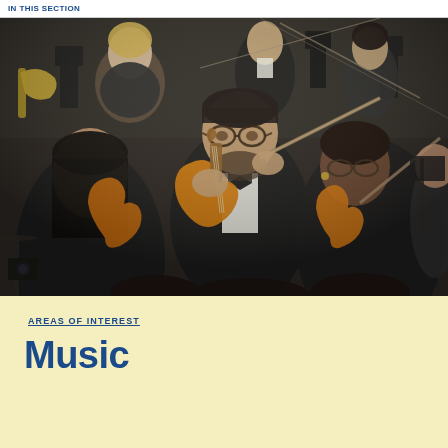IN THIS SECTION
[Figure (photo): Orchestra musicians playing violins and other string instruments during a performance, dressed in formal black attire. Multiple musicians visible including a man with glasses in the foreground playing violin, a woman to his right also playing violin, and other musicians in the background.]
AREAS OF INTEREST
Music